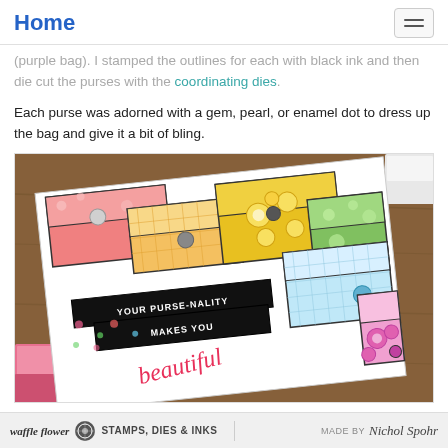Home
(purple bag). I stamped the outlines for each with black ink and then die cut the purses with the coordinating dies.
Each purse was adorned with a gem, pearl, or enamel dot to dress up the bag and give it a bit of bling.
[Figure (photo): Photo of a craft card on a wooden table featuring multiple colorful purse-shaped pockets in pink, yellow, green, blue, and purple with patterned papers and gems/snaps as embellishments. Text on the card reads 'YOUR PURSE-NALITY MAKES YOU beautiful' in black and red/pink script. Pink and blue ink pads are visible in the corners.]
Waffle Flower STAMPS, DIES & INKS MADE BY Nichol Spohr